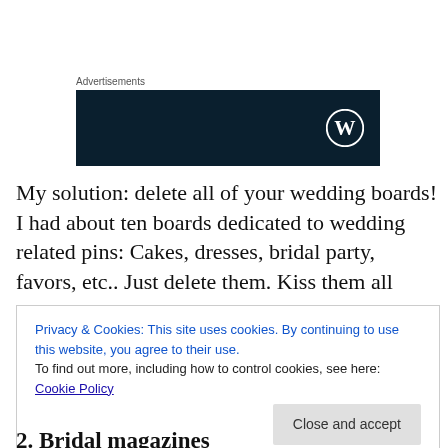Advertisements
[Figure (other): Dark navy blue advertisement banner with WordPress logo (circle W) in the bottom right corner]
My solution: delete all of your wedding boards! I had about ten boards dedicated to wedding related pins: Cakes, dresses, bridal party, favors, etc.. Just delete them. Kiss them all good bye, and believe me it can be hard to do.
Privacy & Cookies: This site uses cookies. By continuing to use this website, you agree to their use.
To find out more, including how to control cookies, see here: Cookie Policy
[Close and accept button]
2. Bridal magazines